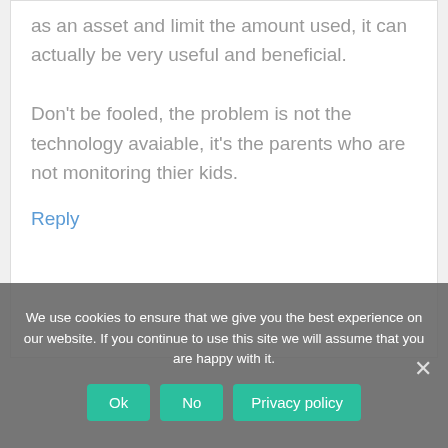as an asset and limit the amount used, it can actually be very useful and beneficial. Don't be fooled, the problem is not the technology avaiable, it's the parents who are not monitoring thier kids.
Reply
We use cookies to ensure that we give you the best experience on our website. If you continue to use this site we will assume that you are happy with it.